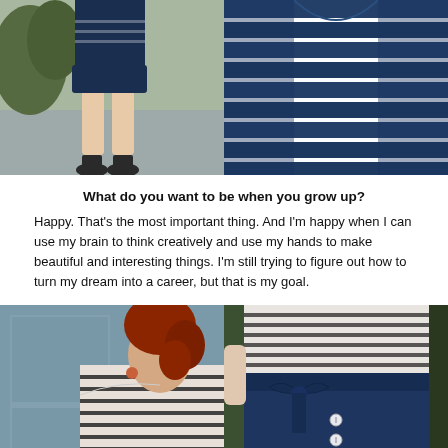[Figure (photo): Two photos side by side at top: left photo shows a woman from waist down wearing navy shorts and black flats standing outside; right photo shows close-up of a navy and white striped top fabric.]
What do you want to be when you grow up?
Happy. That's the most important thing. And I'm happy when I can use my brain to think creatively and use my hands to make beautiful and interesting things. I'm still trying to figure out how to turn my dream into a career, but that is my goal.
[Figure (photo): Two photos side by side at bottom: left photo shows a woman with red hair wearing a black and white striped long-sleeve top, profile view against a blue-grey door; right photo shows close-up of a navy skirt with white buttons and bow, paired with a striped top.]